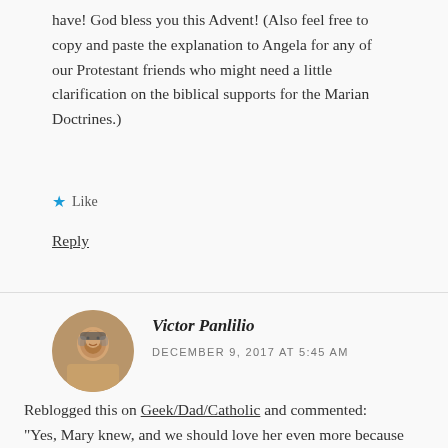have! God bless you this Advent! (Also feel free to copy and paste the explanation to Angela for any of our Protestant friends who might need a little clarification on the biblical supports for the Marian Doctrines.)
★ Like
Reply
Victor Panlilio
DECEMBER 9, 2017 AT 5:45 AM
Reblogged this on Geek/Dad/Catholic and commented: "Yes, Mary knew, and we should love her even more because she did."